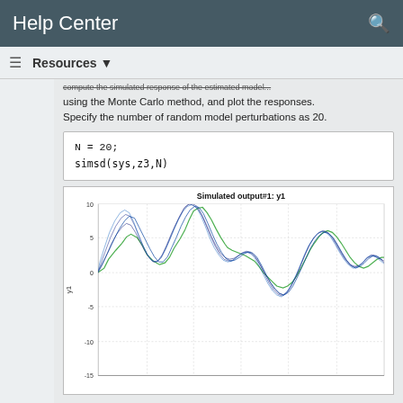Help Center
Resources
...compute the simulated response of the estimated model using the Monte Carlo method, and plot the responses. Specify the number of random model perturbations as 20.
[Figure (continuous-plot): Time-series plot showing multiple overlapping waveforms (blue and green lines) for simulated output y1. X-axis ranges from 0 to 300, Y-axis ranges from -15 to 10. The waveforms show increasing oscillation amplitude in the middle.]